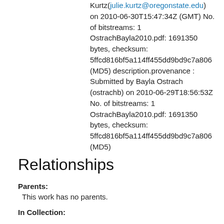Kurtz(julie.kurtz@oregonstate.edu) on 2010-06-30T15:47:34Z (GMT) No. of bitstreams: 1 OstrachBayla2010.pdf: 1691350 bytes, checksum: 5ffcd816bf5a114ff455dd9bd9c7a806 (MD5) description.provenance : Submitted by Bayla Ostrach (ostrachb) on 2010-06-29T18:56:53Z No. of bitstreams: 1 OstrachBayla2010.pdf: 1691350 bytes, checksum: 5ffcd816bf5a114ff455dd9bd9c7a806 (MD5)
Relationships
Parents:
This work has no parents.
In Collection: